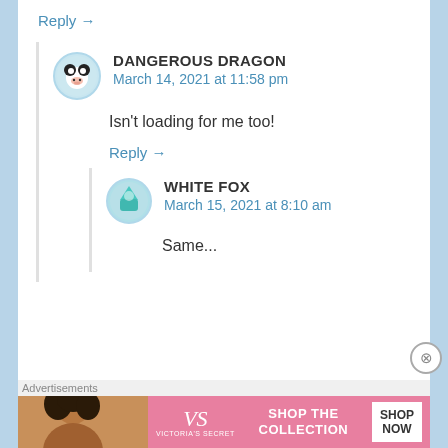Reply →
DANGEROUS DRAGON
March 14, 2021 at 11:58 pm
Isn't loading for me too!
Reply →
WHITE FOX
March 15, 2021 at 8:10 am
Same...
Advertisements